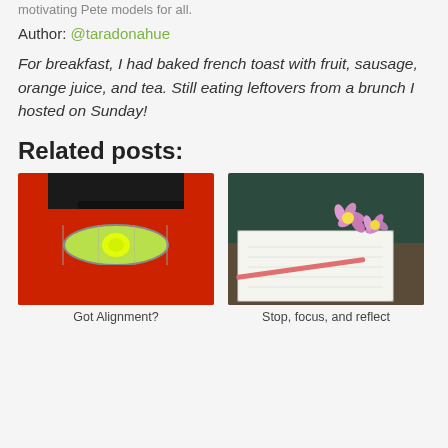motivating Pete models for all.
Author: @taradonahue
For breakfast, I had baked french toast with fruit, sausage, orange juice, and tea. Still eating leftovers from a brunch I hosted on Sunday!
Related posts:
[Figure (photo): Close-up of a red spirit level tool with a green bubble vial]
Got Alignment?
[Figure (photo): An open notebook on a dark wooden table with pink flowers resting on it]
Stop, focus, and reflect